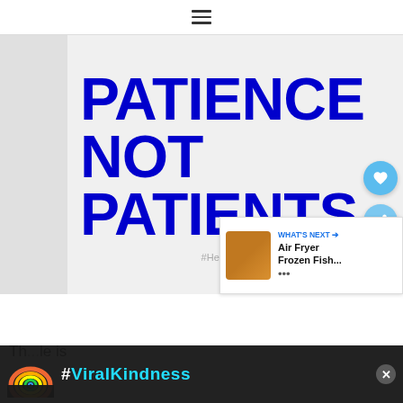≡ (menu icon)
[Figure (illustration): Bold blue text on light gray background reading 'PATIENCE NOT PATIENTS' in large uppercase letters, with hashtag #HelpByDesign below in gray]
Th... is
[Figure (infographic): Advertisement banner with rainbow illustration on dark background with white text '#ViralKindness' and a close button]